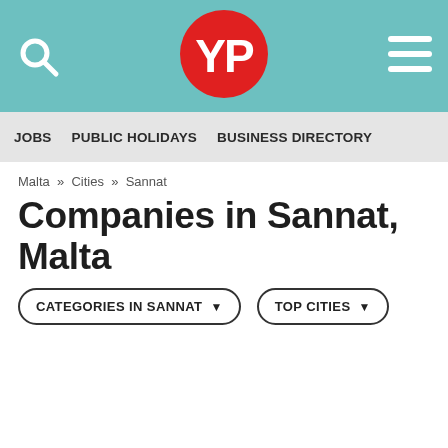YP - Yellow Pages Malta header with search icon, YP logo, and hamburger menu
JOBS  PUBLIC HOLIDAYS  BUSINESS DIRECTORY
Malta » Cities » Sannat
Companies in Sannat, Malta
CATEGORIES IN SANNAT ▾   TOP CITIES ▾